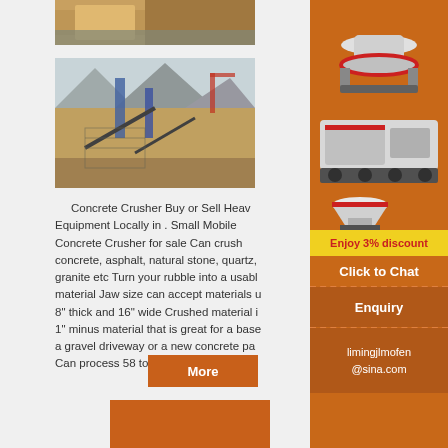[Figure (photo): Partial view of heavy equipment/truck on a transport vehicle, cropped at top of page]
[Figure (photo): Outdoor photo of a concrete crusher / mining processing plant with conveyor belts and machinery against a mountain background]
Concrete Crusher Buy or Sell Heavy Equipment Locally in . Small Mobile Concrete Crusher for sale Can crush concrete, asphalt, natural stone, quartz, granite etc Turn your rubble into a usable material Jaw size can accept materials up to 8" thick and 16" wide Crushed material is 1" minus material that is great for a base for a gravel driveway or a new concrete pad Can process 58 tons per hour ...
[Figure (photo): Advertisement sidebar showing crusher machinery equipment on orange background with discount offer and contact information]
Enjoy 3% discount
Click to Chat
Enquiry
limingjlmofen@sina.com
More